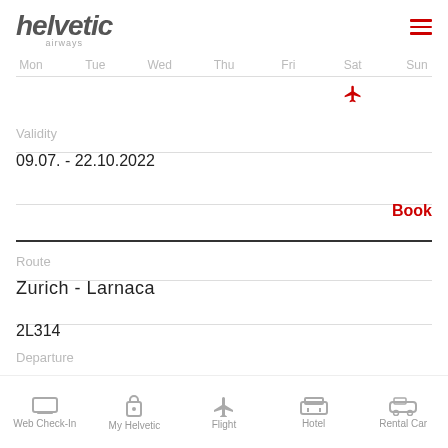helvetic airways
Mon  Tue  Wed  Thu  Fri  Sat  Sun
Validity
09.07. - 22.10.2022
Book
Route
Zurich - Larnaca
2L314
Departure
13:45
Web Check-In  My Helvetic  Flight  Hotel  Rental Car